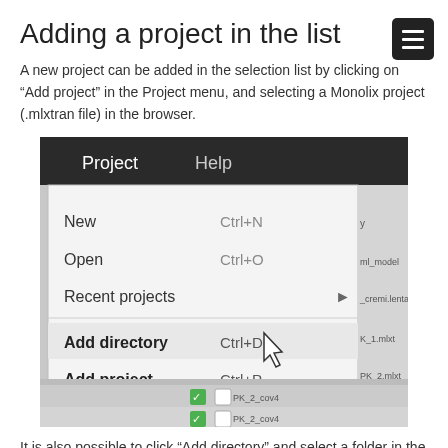Adding a project in the list
A new project can be added in the selection list by clicking on “Add project” in the Project menu, and selecting a Monolix project (.mlxtran file) in the browser.
[Figure (screenshot): Screenshot of a software application showing the Project menu open with options: New (Ctrl+N), Open (Ctrl+O), Recent projects (submenu arrow), Add directory (Ctrl+D), Add project (Ctrl+P), Save (Ctrl+S), Save As..., Quit (Ctrl+Q). A mouse cursor is visible near the Add project item. The Help menu is also visible in the menu bar. A project list is partially visible behind the menu.]
It is also possible to click “Add directory” and select a folder in the browser. In that case all Monolix projects contained in the folder are displayed in the selection